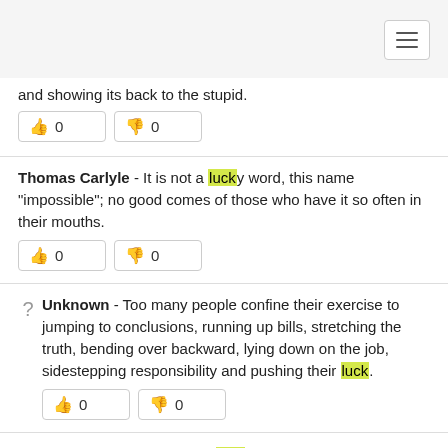and showing its back to the stupid.
Thomas Carlyle - It is not a lucky word, this name "impossible"; no good comes of those who have it so often in their mouths.
Unknown - Too many people confine their exercise to jumping to conclusions, running up bills, stretching the truth, bending over backward, lying down on the job, sidestepping responsibility and pushing their luck.
Andrew W. Mathis - It is bad luck to be